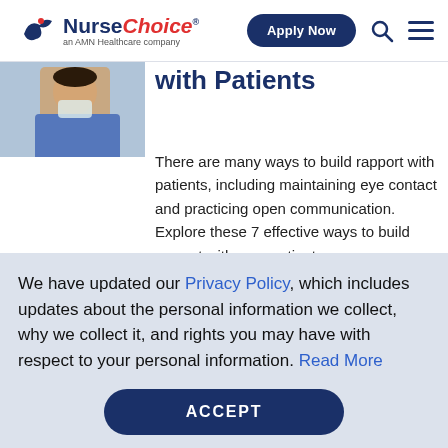NurseChoice — an AMN Healthcare company | Apply Now
[Figure (photo): Partial photo of a nurse or healthcare worker in scrubs, top-left corner]
with Patients
There are many ways to build rapport with patients, including maintaining eye contact and practicing open communication. Explore these 7 effective ways to build rapport with your patients.
We have updated our Privacy Policy, which includes updates about the personal information we collect, why we collect it, and rights you may have with respect to your personal information. Read More
ACCEPT